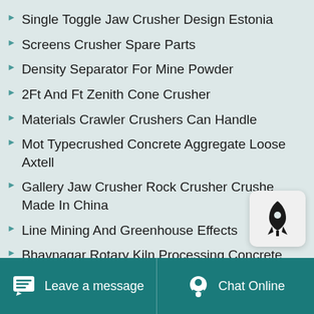Single Toggle Jaw Crusher Design Estonia
Screens Crusher Spare Parts
Density Separator For Mine Powder
2Ft And Ft Zenith Cone Crusher
Materials Crawler Crushers Can Handle
Mot Typecrushed Concrete Aggregate Loose Axtell
Gallery Jaw Crusher Rock Crusher Crusher Made In China
Line Mining And Greenhouse Effects
Bhavnagar Rotary Kiln Processing Concrete Sand
Leave a message  Chat Online